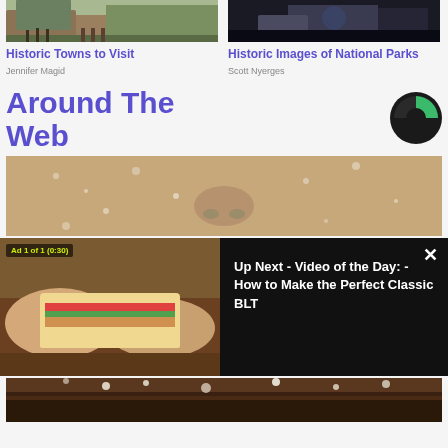[Figure (photo): Top portion of a wooden historic building with walkway]
Historic Towns to Visit
Jennifer Magid
[Figure (photo): Dark rocky scenic view, possibly a national park]
Historic Images of National Parks
Scott Nyerges
Around The Web
[Figure (logo): Taboola logo - circular green and black icon]
[Figure (photo): Close-up of a face covered in flour/powder - nose visible]
[Figure (screenshot): Video overlay ad showing sandwich being held, with 'Ad 1 of 1 (0:30)' badge]
Up Next - Video of the Day: - How to Make the Perfect Classic BLT
[Figure (photo): Bottom portion of a flour-covered food item on dark surface]